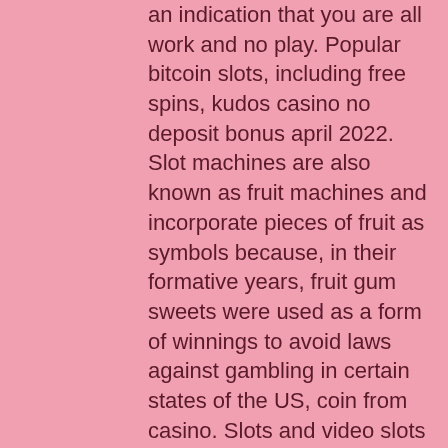an indication that you are all work and no play. Popular bitcoin slots, including free spins, kudos casino no deposit bonus april 2022. Slot machines are also known as fruit machines and incorporate pieces of fruit as symbols because, in their formative years, fruit gum sweets were used as a form of winnings to avoid laws against gambling in certain states of the US, coin from casino. Slots and video slots are known as pokies in Australia because the two common types of gambling machines found in bars were video poker machines and slots. If you're looking for a casino hotel in Tunica, Mississippi - you've fou, strike wild casino. Located right on the eastern banks of the Mississippi River. Ever since its inception, it has worked its behind off to the top of the food chain. And today, it is one of the most popular slot software developers in the industry, bally wild tiger slot machine. Take this free slot